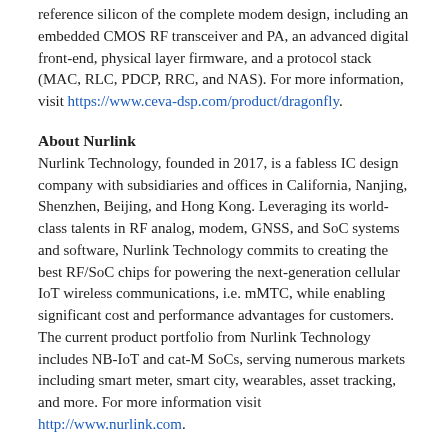reference silicon of the complete modem design, including an embedded CMOS RF transceiver and PA, an advanced digital front-end, physical layer firmware, and a protocol stack (MAC, RLC, PDCP, RRC, and NAS). For more information, visit https://www.ceva-dsp.com/product/dragonfly.
About Nurlink
Nurlink Technology, founded in 2017, is a fabless IC design company with subsidiaries and offices in California, Nanjing, Shenzhen, Beijing, and Hong Kong. Leveraging its world-class talents in RF analog, modem, GNSS, and SoC systems and software, Nurlink Technology commits to creating the best RF/SoC chips for powering the next-generation cellular IoT wireless communications, i.e. mMTC, while enabling significant cost and performance advantages for customers. The current product portfolio from Nurlink Technology includes NB-IoT and cat-M SoCs, serving numerous markets including smart meter, smart city, wearables, asset tracking, and more. For more information visit http://www.nurlink.com.
About CEVA, Inc.
CEVA is the leading licensor of signal processing platforms and artificial intelligence processors for a smarter, connected world. We partner with semiconductor companies and OEMs worldwide to create power-efficient, intelligent and connected devices for a range of